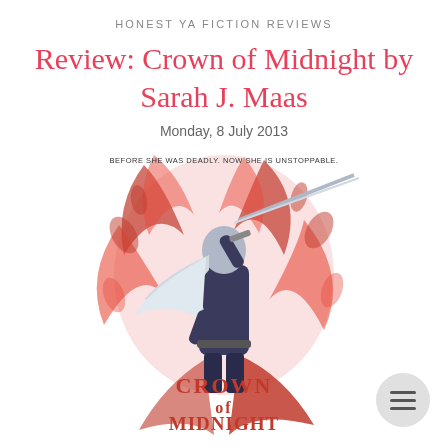HONEST YA FICTION REVIEWS
Review: Crown of Midnight by Sarah J. Maas
Monday, 8 July 2013
[Figure (illustration): Book cover of 'Crown of Midnight' by Sarah J. Maas showing a female warrior with white hair holding a sword, surrounded by red flames/leaves. Text at top reads 'BEFORE SHE WAS DEADLY. NOW SHE IS UNSTOPPABLE.' Title 'Crown of Midnight' displayed in red at bottom.]